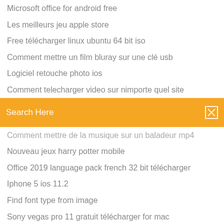Microsoft office for android free
Les meilleurs jeu apple store
Free télécharger linux ubuntu 64 bit iso
Comment mettre un film bluray sur une clé usb
Logiciel retouche photo ios
Comment telecharger video sur nimporte quel site
[Figure (screenshot): Orange search bar with 'Search Here' text and search icon]
Comment mettre de la musique sur un baladeur mp4
Nouveau jeux harry potter mobile
Office 2019 language pack french 32 bit télécharger
Iphone 5 ios 11.2
Find font type from image
Sony vegas pro 11 gratuit télécharger for mac
Touche clavier ne fonctionne plus pc portable packard bell
Adobe flash player pour mac os sierra
Avast internet security gratuit clubic
Jeux comme prop hunt
Cossacks the art of war indir